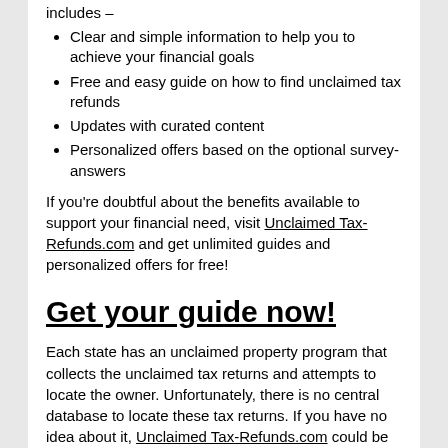includes –
Clear and simple information to help you to achieve your financial goals
Free and easy guide on how to find unclaimed tax refunds
Updates with curated content
Personalized offers based on the optional survey-answers
If you're doubtful about the benefits available to support your financial need, visit Unclaimed Tax-Refunds.com and get unlimited guides and personalized offers for free!
Get your guide now!
Each state has an unclaimed property program that collects the unclaimed tax returns and attempts to locate the owner. Unfortunately, there is no central database to locate these tax returns. If you have no idea about it, Unclaimed Tax-Refunds.com could be the best place to seek help in finding your unclaimed tax refunds through a hassle-free process.